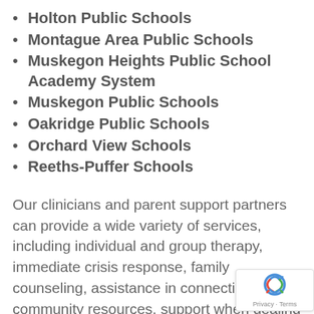Holton Public Schools
Montague Area Public Schools
Muskegon Heights Public School Academy System
Muskegon Public Schools
Oakridge Public Schools
Orchard View Schools
Reeths-Puffer Schools
Our clinicians and parent support partners can provide a wide variety of services, including individual and group therapy, immediate crisis response, family counseling, assistance in connecting with community resources, support when dealing with family-serving systems and more.